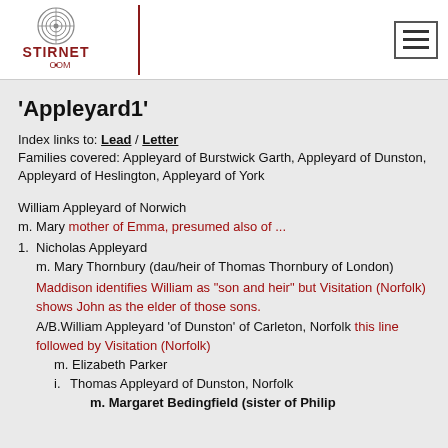STIRNET.COM
'Appleyard1'
Index links to: Lead / Letter
Families covered: Appleyard of Burstwick Garth, Appleyard of Dunston, Appleyard of Heslington, Appleyard of York
William Appleyard of Norwich
m. Mary mother of Emma, presumed also of ...
1. Nicholas Appleyard
   m. Mary Thornbury (dau/heir of Thomas Thornbury of London)
   Maddison identifies William as "son and heir" but Visitation (Norfolk) shows John as the elder of those sons.
   A/B. William Appleyard 'of Dunston' of Carleton, Norfolk this line followed by Visitation (Norfolk)
      m. Elizabeth Parker
      i. Thomas Appleyard of Dunston, Norfolk
         m. Margaret Bedingfield (sister of Philip